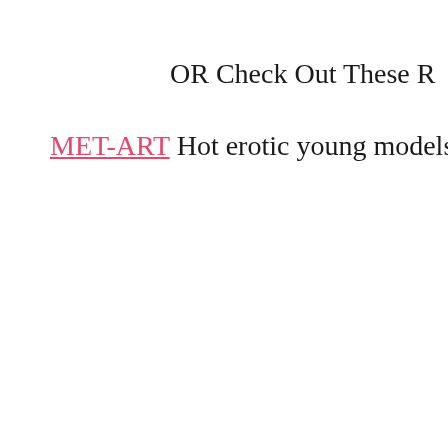OR Check Out These R
MET-ART Hot erotic young models from ar